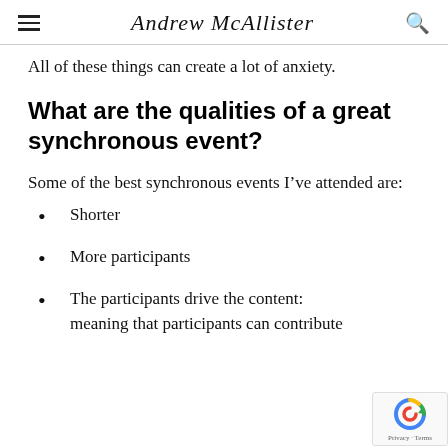Andrew McAllister
All of these things can create a lot of anxiety.
What are the qualities of a great synchronous event?
Some of the best synchronous events I’ve attended are:
Shorter
More participants
The participants drive the content: meaning that participants can contribute